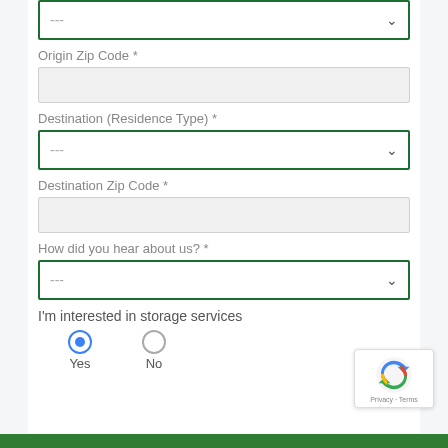[Figure (screenshot): Top select dropdown with green border showing '---' placeholder and dropdown arrow]
Origin Zip Code *
[Figure (screenshot): Text input field with gray background for Origin Zip Code]
Destination (Residence Type) *
[Figure (screenshot): Select dropdown with green border showing '---' placeholder and dropdown arrow for Destination Residence Type]
Destination Zip Code *
[Figure (screenshot): Text input field with gray background for Destination Zip Code]
How did you hear about us? *
[Figure (screenshot): Select dropdown with green border showing '---' placeholder and dropdown arrow for How did you hear about us]
I'm interested in storage services
Yes
No